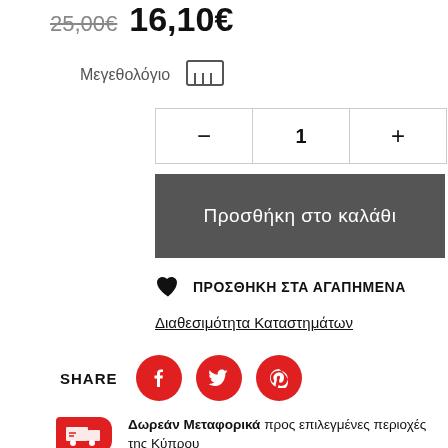25,00€  16,10€
Μεγεθολόγιο
–  1  +
Προσθήκη στο καλάθι
♥ ΠΡΟΣΘΗΚΗ ΣΤΑ ΑΓΑΠΗΜΕΝΑ
Διαθεσιμότητα Καταστημάτων
SHARE
Δωρεάν Μεταφορικά προς επιλεγμένες περιοχές της Κύπρου